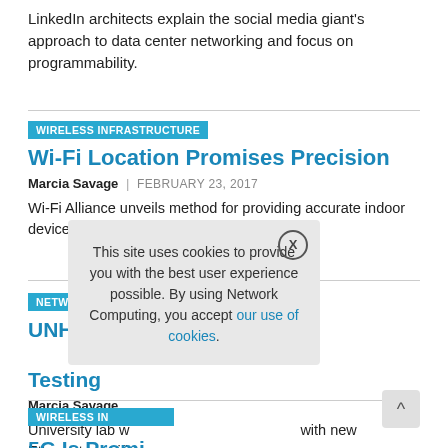LinkedIn architects explain the social media giant's approach to data center networking and focus on programmability.
WIRELESS INFRASTRUCTURE
Wi-Fi Location Promises Precision
Marcia Savage | FEBRUARY 23, 2017
Wi-Fi Alliance unveils method for providing accurate indoor device location.
NETWORKING
UNH-IOL L[aunches 400 Gigabit Ethernet Testing]
Marcia Savage
University lab w[orks to keep pace] with new Ethernet specifi[cations].
WIRELESS IN[FRASTRUCTURE]
5G Is Promi[sing...]
This site uses cookies to provide you with the best user experience possible. By using Network Computing, you accept our use of cookies.